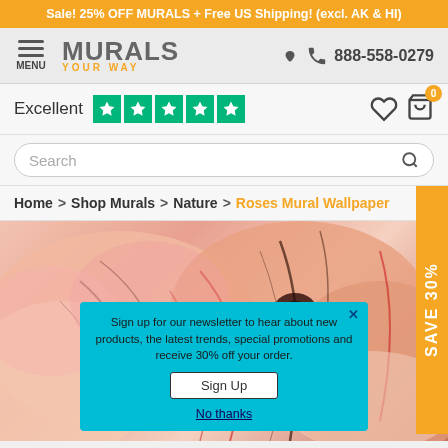Sale! 25% OFF MURALS + Free US Shipping! (excl. AK & HI)
[Figure (logo): Murals Your Way logo with hamburger menu and phone number 888-558-0279]
Excellent ★★★★★
Search
Home > Shop Murals > Nature > Roses Mural Wallpaper
[Figure (photo): Close-up photo of rose petals with pink, peach tones and dark veins, serving as product mural wallpaper preview]
Sign up for our newsletter to hear about new products, the latest trends, special promotions and receive 30% off your order.
Sign Up
No thanks